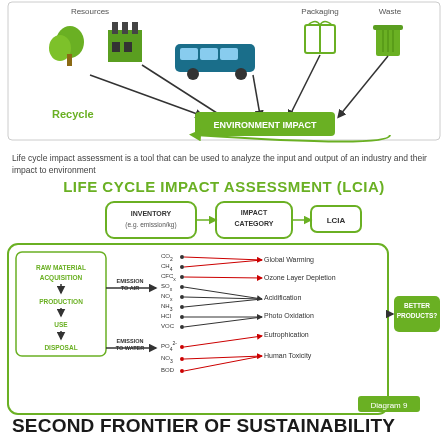[Figure (infographic): Top portion of a life cycle diagram showing Resources, factory, truck/transport, Packaging, Waste icons with arrows pointing to an 'ENVIRONMENT IMPACT' green box, and 'Recycle' label at bottom left with recycling arrow.]
Life cycle impact assessment is a tool that can be used to analyze the input and output of an industry and their impact to environment
LIFE CYCLE IMPACT ASSESSMENT (LCIA)
[Figure (flowchart): LCIA flowchart diagram showing: Inventory (e.g. emission/kg) box -> Impact Category box -> LCIA box at top. Below: Raw Material Acquisition -> Production -> Use -> Disposal box on left, EMISSION TO AIR arrow pointing to list of chemicals (CO2, CH4, CFCx, SOx, NOx, NH3, HCl, VOC) with red lines to Global Warming, Ozone Layer Depletion, Acidification, Photo Oxidation, Eutrophication. EMISSION TO WATER arrow pointing to PO4, NO3, BOD with lines to Human Toxicity. All within green rounded rectangle. BETTER PRODUCTS? box on right. Diagram 9 label bottom right.]
SECOND FRONTIER OF SUSTAINABILITY